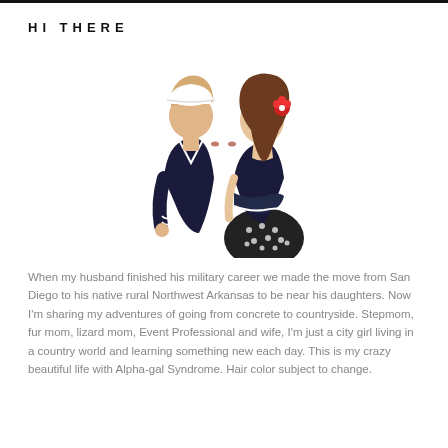HI THERE
[Figure (illustration): Illustrated couple kissing: a man in a Navy sailor uniform with white hat and dark navy top, and a woman with long brown hair wearing a red flower, dark sleeveless top and black and white polka dot skirt.]
When my husband finished his military career we made the move from San Diego to his native rural Northwest Arkansas to be near his daughters. Now I'm sharing my adventures of going from concrete to countryside. Stepmom, fur mom, lizard mom, Event Professional and wife, I'm just a city girl living in a country world and learning something new each day. This is my crazy beautiful life with Alpha-gal Syndrome. Hair color subject to change.